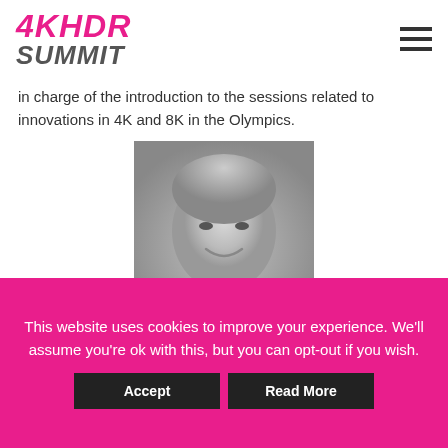[Figure (logo): 4KHDR SUMMIT logo in pink/magenta and grey italic bold text]
in charge of the introduction to the sessions related to innovations in 4K and 8K in the Olympics.
[Figure (photo): Black and white portrait photo of a smiling middle-aged man]
[Figure (logo): Partial globe/sphere icon at bottom of content area]
This website uses cookies to improve your experience. We'll assume you're ok with this, but you can opt-out if you wish.